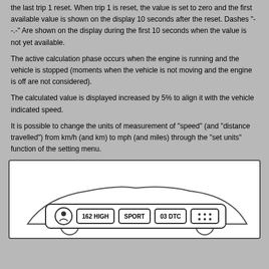the last trip 1 reset. When trip 1 is reset, the value is set to zero and the first available value is shown on the display 10 seconds after the reset. Dashes "- -.-" Are shown on the display during the first 10 seconds when the value is not yet available.
The active calculation phase occurs when the engine is running and the vehicle is stopped (moments when the vehicle is not moving and the engine is off are not considered).
The calculated value is displayed increased by 5% to align it with the vehicle indicated speed.
It is possible to change the units of measurement of "speed" (and "distance travelled") from km/h (and km) to mph (and miles) through the "set units" function of the setting menu.
[Figure (illustration): Dashboard display showing vehicle instrument cluster with pill-shaped readouts: a round icon on left, then '162 HIGH', 'SPORT', '03 DTC', and a small icon on the right, all within a white rounded-rectangle border.]